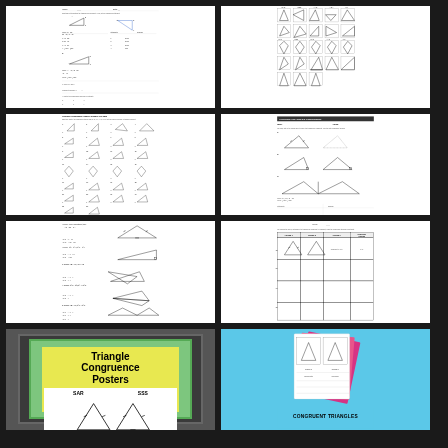[Figure (other): Geometry worksheet with triangle congruence problems, showing labeled triangles and proof questions]
[Figure (other): Triangle congruence matching game board with various triangle shapes in grid layout]
[Figure (other): Worksheet with many small triangle pairs for congruence identification]
[Figure (other): Proofs worksheet with triangle diagrams and proof columns]
[Figure (other): Triangle congruence worksheet with angle and side problems]
[Figure (other): Table worksheet for recording triangle congruence figures and properties]
[Figure (illustration): Triangle Congruence Posters product thumbnail with SAR and SSS labels]
[Figure (illustration): Congruent Triangles activity cards product thumbnail on blue background]